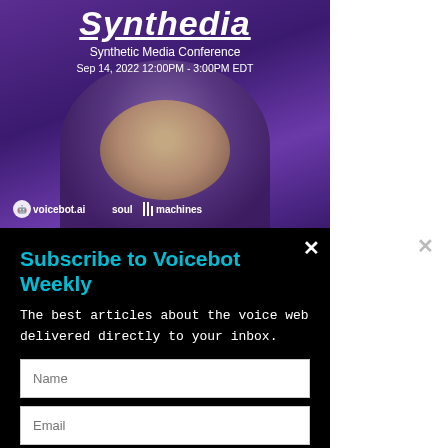[Figure (screenshot): Synthedia Synthetic Media Conference promotional banner with purple background, person's face, voicebot.ai and soul machines logos. Text: Synthedia, Synthetic Media Conference, Sep 14, 2022 12:00PM - 3:00PM EDT]
Subscribe to Voicebot Weekly
The best articles about the voice web delivered directly to your inbox.
Name (input field)
Email (input field)
SUBSCRIBE